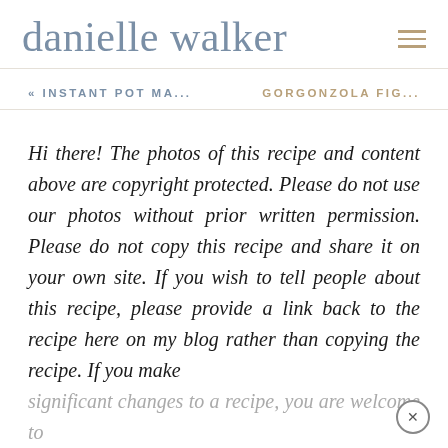danielle walker
« INSTANT POT MA...   GORGONZOLA FIG...
Hi there! The photos of this recipe and content above are copyright protected. Please do not use our photos without prior written permission. Please do not copy this recipe and share it on your own site. If you wish to tell people about this recipe, please provide a link back to the recipe here on my blog rather than copying the recipe. If you make significant changes to a recipe, you are welcome to